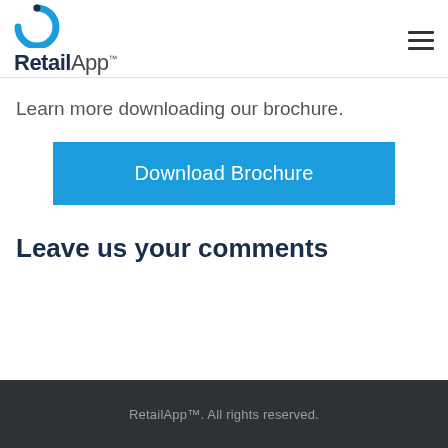RetailApp™
Learn more downloading our brochure.
Download Brochure
Leave us your comments
RetailApp™. All rights reserved.